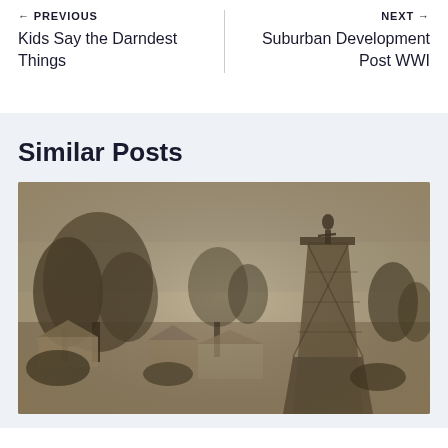← PREVIOUS
Kids Say the Darndest Things
NEXT →
Suburban Development Post WWI
Similar Posts
[Figure (photo): Sepia-toned historical photograph showing trees, buildings/houses, and a tall tower or windmill structure with a figure or statue on top, possibly from the late 19th or early 20th century.]